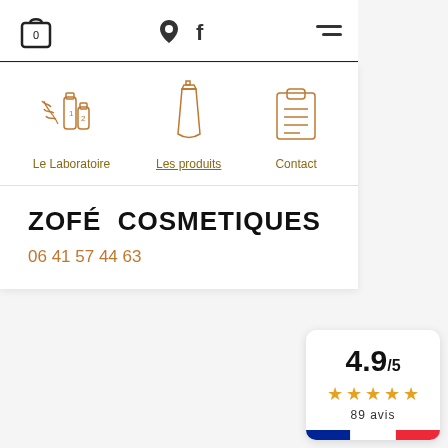Navigation bar with bag icon (0), location pin, Facebook icon, hamburger menu
[Figure (screenshot): Navigation icons: Le Laboratoire (lab bottles illustration), Les produits (cosmetic tube illustration), Contact (clipboard illustration)]
ZOFÉ COSMETIQUES
06 41 57 44 63
[Figure (infographic): Rating widget showing 4.9/5 with 5 gold stars and 89 avis, with French flag at bottom]